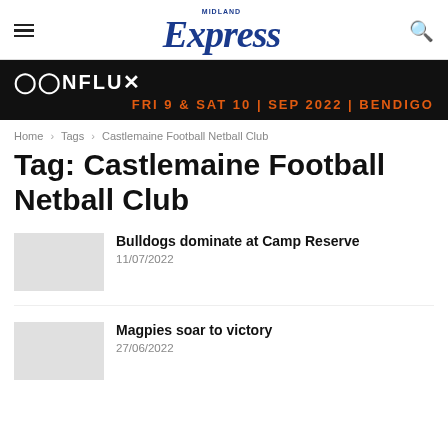Midland Express
[Figure (infographic): Conflux festival advertisement banner: black background with Conflux logo in white stylized text, date FRI 9 & SAT 10 | SEP 2022 | BENDIGO in orange bold text]
Home › Tags › Castlemaine Football Netball Club
Tag: Castlemaine Football Netball Club
Bulldogs dominate at Camp Reserve
11/07/2022
Magpies soar to victory
27/06/2022